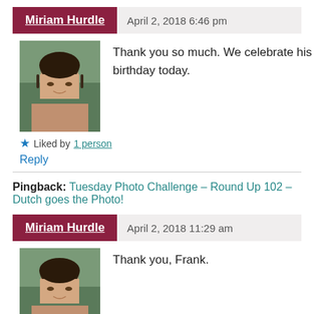Miriam Hurdle — April 2, 2018 6:46 pm
[Figure (photo): Profile photo of Miriam Hurdle, a woman with dark hair and glasses]
Thank you so much. We celebrate his birthday today.
★ Liked by 1 person
Reply
Pingback: Tuesday Photo Challenge – Round Up 102 – Dutch goes the Photo!
Miriam Hurdle — April 2, 2018 11:29 am
[Figure (photo): Profile photo of Miriam Hurdle, a woman with dark hair and glasses]
Thank you, Frank.